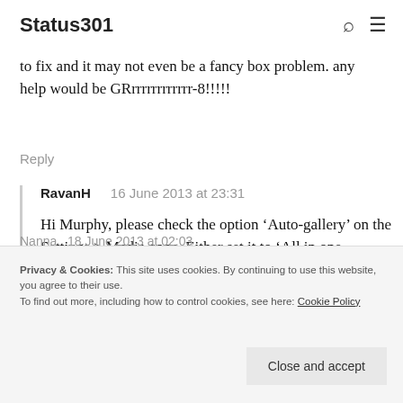Status301
to fix and it may not even be a fancy box problem. any help would be GRrrrrrrrrrrrr-8!!!!!
Reply
RavanH   16 June 2013 at 23:31
Hi Murphy, please check the option ‘Auto-gallery’ on the Settings > Media page. Either set it to ‘All in one
Privacy & Cookies: This site uses cookies. By continuing to use this website, you agree to their use.
To find out more, including how to control cookies, see here: Cookie Policy
Close and accept
Nanna   18 June 2013 at 02:03